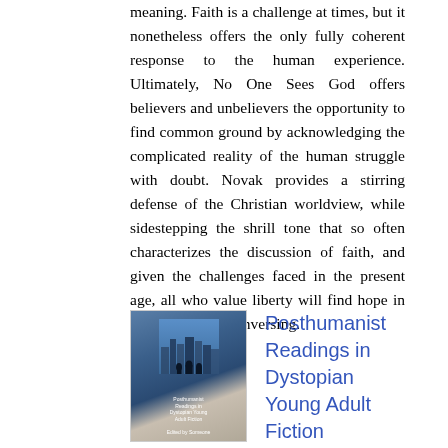meaning. Faith is a challenge at times, but it nonetheless offers the only fully coherent response to the human experience. Ultimately, No One Sees God offers believers and unbelievers the opportunity to find common ground by acknowledging the complicated reality of the human struggle with doubt. Novak provides a stirring defense of the Christian worldview, while sidestepping the shrill tone that so often characterizes the discussion of faith, and given the challenges faced in the present age, all who value liberty will find hope in his new way of conversing.
[Figure (illustration): Book cover of Posthumanist Readings in Dystopian Young Adult Fiction with silhouettes of figures against a blue/grey cityscape background]
Posthumanist Readings in Dystopian Young Adult Fiction